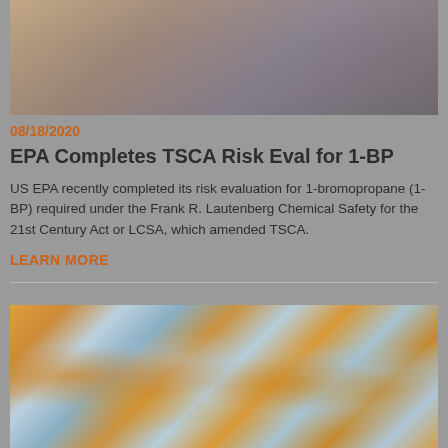[Figure (photo): Photo of a person, cropped, partially visible at top of page]
08/18/2020
EPA Completes TSCA Risk Eval for 1-BP
US EPA recently completed its risk evaluation for 1-bromopropane (1-BP) required under the Frank R. Lautenberg Chemical Safety for the 21st Century Act or LCSA, which amended TSCA.
LEARN MORE
[Figure (photo): Photo of laboratory chemical bottles with orange caps and blue labels, blurred background]